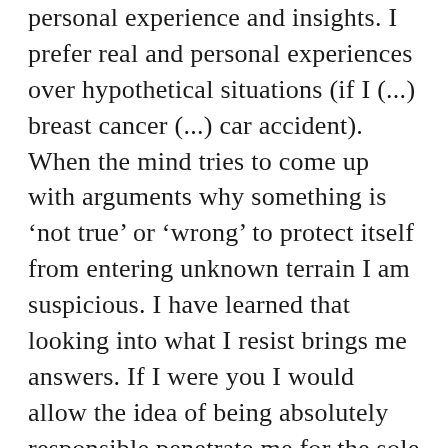personal experience and insights. I prefer real and personal experiences over hypothetical situations (if I (...) breast cancer (...) car accident). When the mind tries to come up with arguments why something is ‘not true’ or ‘wrong’ to protect itself from entering unknown terrain I am suspicious. I have learned that looking into what I resist brings me answers. If I were you I would allow the idea of being absolutely responsible penetrate me for the sole reason that my mind tells me not to go there.
(partial bottom text visible)